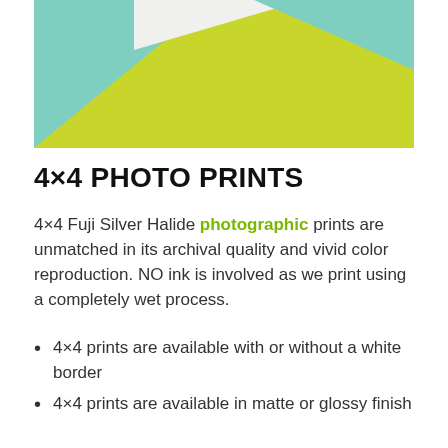[Figure (illustration): Partial top-cropped image showing abstract colored geometric shapes in mint/teal, white, and yellow-green on a light background. Only the lower portion of the image is visible.]
4×4 PHOTO PRINTS
4×4 Fuji Silver Halide photographic prints are unmatched in its archival quality and vivid color reproduction. NO ink is involved as we print using a completely wet process.
4×4 prints are available with or without a white border
4×4 prints are available in matte or glossy finish